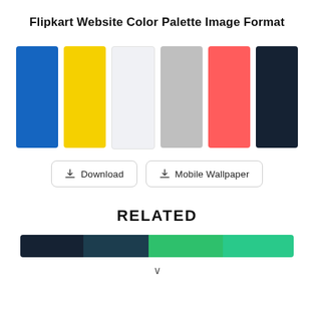Flipkart Website Color Palette Image Format
[Figure (infographic): Six color swatches in a row: blue (#1565C0), yellow (#F5D000), light gray (#F0F1F5), gray (#BFBFBF), coral/red (#FF5C5C), dark navy (#152233)]
[Figure (infographic): Two buttons: Download and Mobile Wallpaper with download icons]
RELATED
[Figure (infographic): Color strip showing dark navy, dark teal, green, and mint/teal segments]